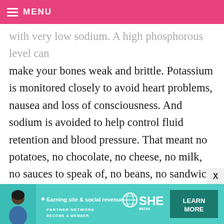MENU
with very low sodium. A high phosphorous level can make your bones weak and brittle. Potassium is monitored closely to avoid heart problems, nausea and loss of consciousness. And sodium is avoided to help control fluid retention and blood pressure. That meant no potatoes, no chocolate, no cheese, no milk, no sauces to speak of, no beans, no sandwich meats, no bacon (ugh), no nuts, no ice cream, no orange juice, no bananas. Basically, nothing fun. And because my fluid intake was restricted, I could only have 32 ounces of fluid for the whole day. Boring!
[Figure (infographic): Advertisement banner for SHE Media Partner Network with tagline 'Earning site & social revenue', SHE logo, and a green Learn More button]